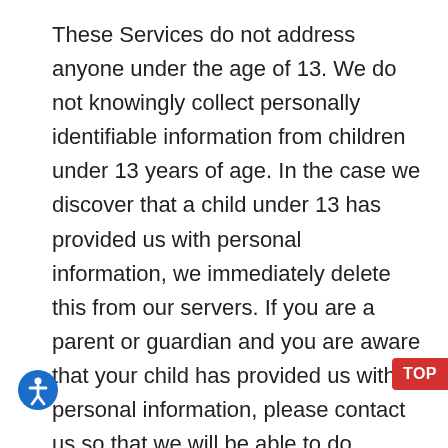These Services do not address anyone under the age of 13. We do not knowingly collect personally identifiable information from children under 13 years of age. In the case we discover that a child under 13 has provided us with personal information, we immediately delete this from our servers. If you are a parent or guardian and you are aware that your child has provided us with personal information, please contact us so that we will be able to do necessary actions.